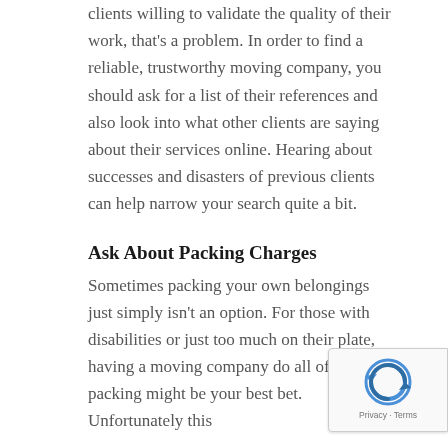clients willing to validate the quality of their work, that's a problem. In order to find a reliable, trustworthy moving company, you should ask for a list of their references and also look into what other clients are saying about their services online. Hearing about successes and disasters of previous clients can help narrow your search quite a bit.
Ask About Packing Charges
Sometimes packing your own belongings just simply isn't an option. For those with disabilities or just too much on their plate, having a moving company do all of your packing might be your best bet. Unfortunately this